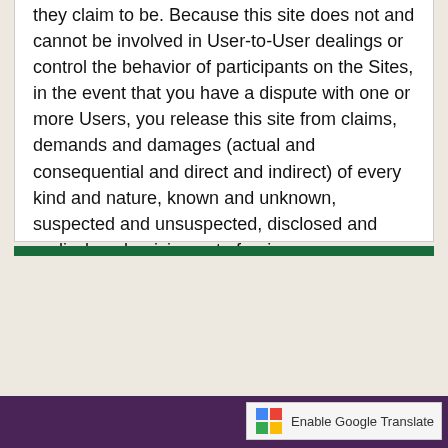they claim to be. Because this site does not and cannot be involved in User-to-User dealings or control the behavior of participants on the Sites, in the event that you have a dispute with one or more Users, you release this site from claims, demands and damages (actual and consequential and direct and indirect) of every kind and nature, known and unknown, suspected and unsuspected, disclosed and undisclosed, arising out of or in any way connected with such disputes.
Enable Google Translate